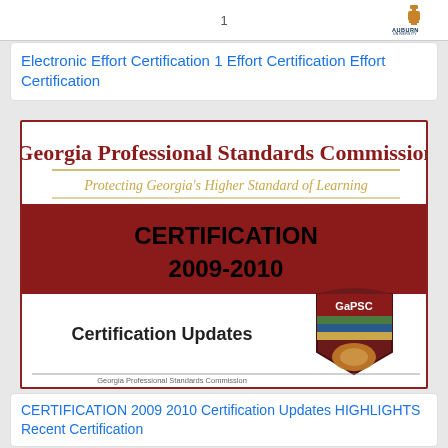1
Electronic Effort Certification 1 Effort Certification Effort Certification
[Figure (illustration): Georgia Professional Standards Commission cover page for Certification 2009-2010, showing the GaPSC shield logo and 'Certification Updates' text on a white background with a dark red banner.]
CERTIFICATION 2009 2010 Certification Updates HIGHLIGHTS Recent Certification